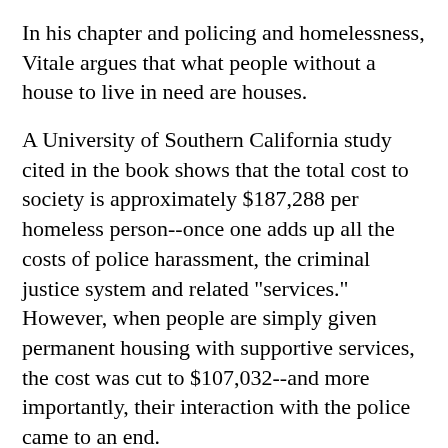In his chapter and policing and homelessness, Vitale argues that what people without a house to live in need are houses.
A University of Southern California study cited in the book shows that the total cost to society is approximately $187,288 per homeless person--once one adds up all the costs of police harassment, the criminal justice system and related "services." However, when people are simply given permanent housing with supportive services, the cost was cut to $107,032--and more importantly, their interaction with the police came to an end.
[Figure (other): Two small red squares used as a section divider]
IN HIS chapter on the war on drugs, he argues that the U.S. currently spends around $50 billion a year to fight the losing war--a number sure to increase in Trump commits resources to combat the opioid